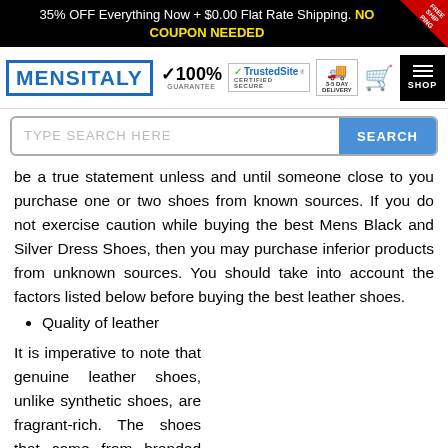35% OFF Everything Now + $0.00 Flat Rate Shipping. NO COUPON NEEDED
[Figure (logo): MensItaly logo with blue border, 100% guarantee checkmark, TrustedSite Certified Secure badge, 3-5 day delivery icon, shopping cart icon, and SHOP menu button]
[Figure (screenshot): Search bar with placeholder text TYPE SEARCH HERE and blue SEARCH button]
be a true statement unless and until someone close to you purchase one or two shoes from known sources. If you do not exercise caution while buying the best Mens Black and Silver Dress Shoes, then you may purchase inferior products from unknown sources. You should take into account the factors listed below before buying the best leather shoes.
Quality of leather
It is imperative to note that genuine leather shoes, unlike synthetic shoes, are fragrant-rich. The shoes that come from branded footwear manufacturers like Hush Puppy,